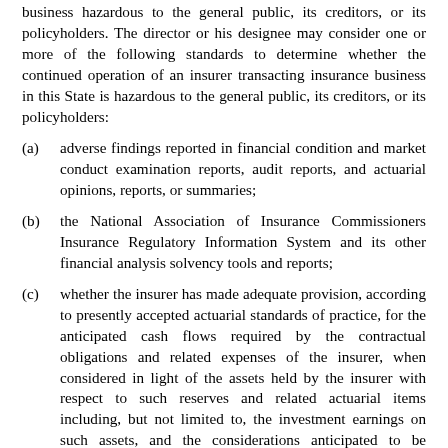business hazardous to the general public, its creditors, or its policyholders. The director or his designee may consider one or more of the following standards to determine whether the continued operation of an insurer transacting insurance business in this State is hazardous to the general public, its creditors, or its policyholders:
(a)    adverse findings reported in financial condition and market conduct examination reports, audit reports, and actuarial opinions, reports, or summaries;
(b)    the National Association of Insurance Commissioners Insurance Regulatory Information System and its other financial analysis solvency tools and reports;
(c)    whether the insurer has made adequate provision, according to presently accepted actuarial standards of practice, for the anticipated cash flows required by the contractual obligations and related expenses of the insurer, when considered in light of the assets held by the insurer with respect to such reserves and related actuarial items including, but not limited to, the investment earnings on such assets, and the considerations anticipated to be received and retained under such policies and contracts;
(d)    whether the ability of an assuming reinsurer to perform and the reinsurance program of the insurer provides sufficient